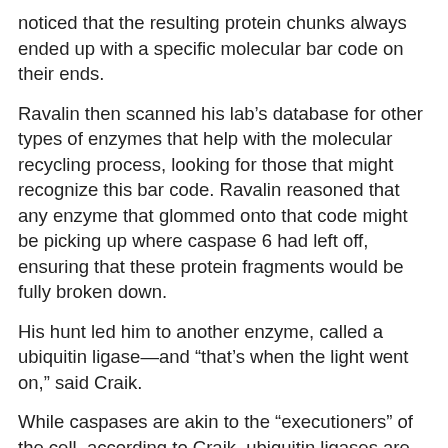noticed that the resulting protein chunks always ended up with a specific molecular bar code on their ends.
Ravalin then scanned his lab's database for other types of enzymes that help with the molecular recycling process, looking for those that might recognize this bar code. Ravalin reasoned that any enzyme that glommed onto that code might be picking up where caspase 6 had left off, ensuring that these protein fragments would be fully broken down.
His hunt led him to another enzyme, called a ubiquitin ligase—and “that's when the light went on,” said Craik.
While caspases are akin to the “executioners” of the cell, according to Craik, ubiquitin ligases are more like the “sorters” in a large recycling facility. Healthy cells routinely must recycle old proteins and make new ones, and ubiquitin ligases put molecular tags on older proteins destining them for disposal.